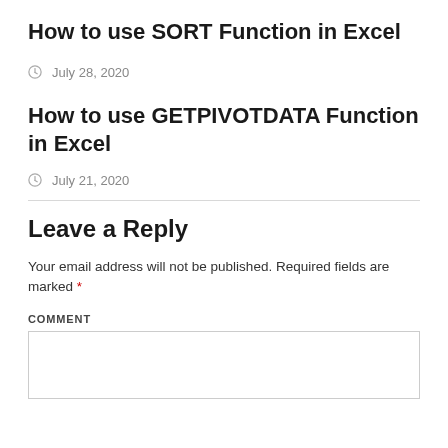How to use SORT Function in Excel
July 28, 2020
How to use GETPIVOTDATA Function in Excel
July 21, 2020
Leave a Reply
Your email address will not be published. Required fields are marked *
COMMENT